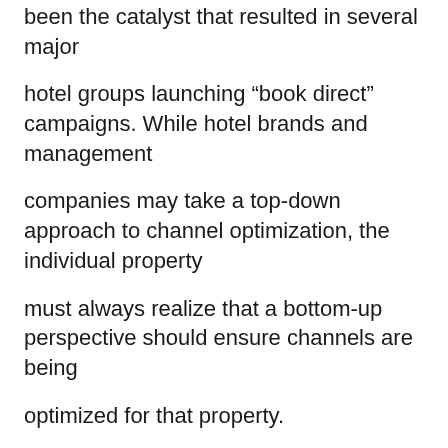been the catalyst that resulted in several major
hotel groups launching “book direct” campaigns. While hotel brands and management
companies may take a top-down approach to channel optimization, the individual property
must always realize that a bottom-up perspective should ensure channels are being
optimized for that property.
For information on exclusive commercial opportunities in the